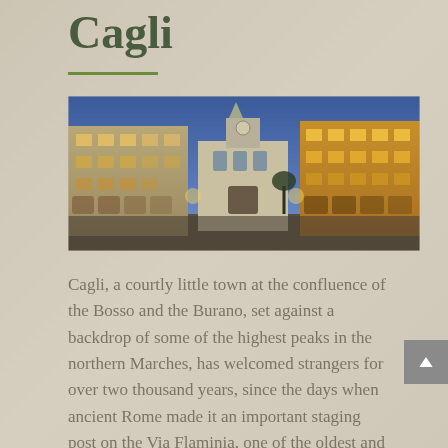Cagli
[Figure (photo): Panoramic evening photo of Cagli town square with illuminated historic buildings and a church in the center against a blue dusk sky]
Cagli, a courtly little town at the confluence of the Bosso and the Burano, set against a backdrop of some of the highest peaks in the northern Marches, has welcomed strangers for over two thousand years, since the days when ancient Rome made it an important staging post on the Via Flaminia, one of the oldest and most important Roman roads in Europe. Cagli